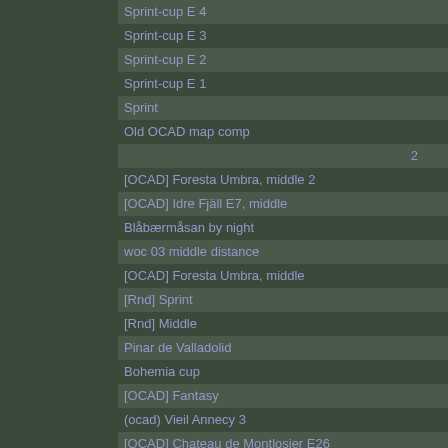Sprint-cup E 4
Sprint-cup E 3
Sprint-cup E 2
Sprint-cup E 1
Sprint
Old OCAD map comp
2
[OCAD] Foresta Umbra, middle 2
[OCAD] Idre Fjäll E7, middle
Blåbærmåsan by night
woc 03 middle distance
[OCAD] Foresta Umbra, middle
[Rnd] Sprint
[Rnd] Middle
Pinar de Valladolid
Bohemia cup
[OCAD] Fantasy
(ocad) Vieil Annecy 3
[OCAD] Chateau de Montlosier E26
[OCAD] Schöckel-Cup E13, Middle
[OCAD] Schöckel-Cup E10, Long
[OCAD] Chateau de Montlosier E25
[OCAD] Scolty, Long-night
[OCAD] Velo d'Astico, Long
[OCAD] Velo d'Astico
[OCAD] Chateau de Montlosier E24
International long distance comp
woc05 middle distance
Woc-05 long distance